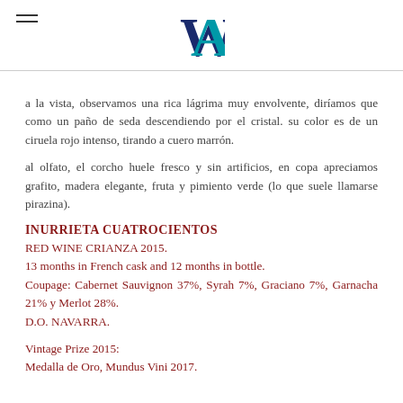WM logo with hamburger menu
a la vista, observamos una rica lágrima muy envolvente, diríamos que como un paño de seda descendiendo por el cristal. su color es de un ciruela rojo intenso, tirando a cuero marrón.
al olfato, el corcho huele fresco y sin artificios, en copa apreciamos grafito, madera elegante, fruta y pimiento verde (lo que suele llamarse pirazina).
INURRIETA  CUATROCIENTOS
RED WINE CRIANZA  2015.
13 months in French cask and 12 months in bottle.
Coupage:  Cabernet  Sauvignon  37%,  Syrah  7%,  Graciano  7%, Garnacha 21%  y Merlot 28%.
D.O. NAVARRA.
Vintage Prize 2015:
Medalla de Oro, Mundus Vini 2017.